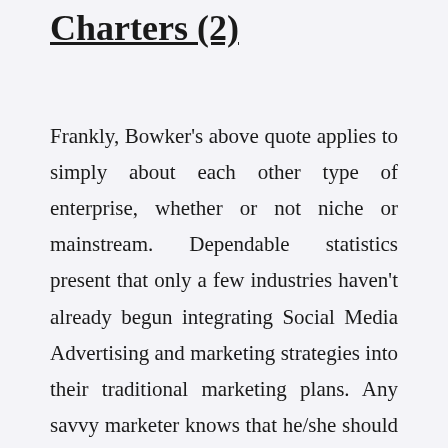Charters (2)
Frankly, Bowker's above quote applies to simply about each other type of enterprise, whether or not niche or mainstream. Dependable statistics present that only a few industries haven't already begun integrating Social Media Advertising and marketing strategies into their traditional marketing plans. Any savvy marketer knows that he/she should be wherever their audiences are. It is a positive bet that their audiences are already participating